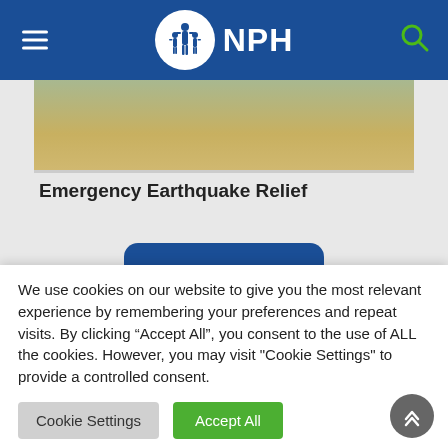NPH
[Figure (photo): Outdoor scene showing ground with grass and scattered debris, related to earthquake relief efforts]
Emergency Earthquake Relief
We use cookies on our website to give you the most relevant experience by remembering your preferences and repeat visits. By clicking “Accept All”, you consent to the use of ALL the cookies. However, you may visit "Cookie Settings" to provide a controlled consent.